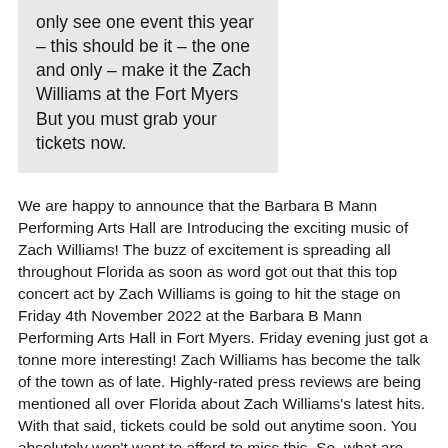only see one event this year – this should be it – the one and only – make it the Zach Williams at the Fort Myers But you must grab your tickets now.
We are happy to announce that the Barbara B Mann Performing Arts Hall are Introducing the exciting music of Zach Williams! The buzz of excitement is spreading all throughout Florida as soon as word got out that this top concert act by Zach Williams is going to hit the stage on Friday 4th November 2022 at the Barbara B Mann Performing Arts Hall in Fort Myers. Friday evening just got a tonne more interesting! Zach Williams has become the talk of the town as of late. Highly-rated press reviews are being mentioned all over Florida about Zach Williams's latest hits. With that said, tickets could be sold out anytime soon. You absolutely won't want to afford to miss this. So, what are you waiting for? Call your